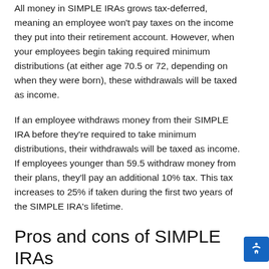All money in SIMPLE IRAs grows tax-deferred, meaning an employee won't pay taxes on the income they put into their retirement account. However, when your employees begin taking required minimum distributions (at either age 70.5 or 72, depending on when they were born), these withdrawals will be taxed as income.
If an employee withdraws money from their SIMPLE IRA before they're required to take minimum distributions, their withdrawals will be taxed as income. If employees younger than 59.5 withdraw money from their plans, they'll pay an additional 10% tax. This tax increases to 25% if taken during the first two years of the SIMPLE IRA's lifetime.
Pros and cons of SIMPLE IRAs
Like all retirement plans, SIMPLE IRAs' features and